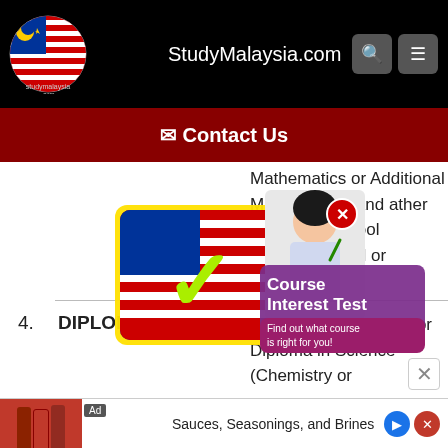StudyMalaysia.com
✉ Contact Us
Mathematics or Additional Mathematics, and another subject at School Certificate level or equivalent.
4. DIPLOMA — Minimum CGPA 3.75 for Diploma in Science (Chemistry...
[Figure (screenshot): Course Interest Test advertisement overlay with StudyMalaysia logo checkmark and student thinking image]
Ad — Sauces, Seasonings, and Brines